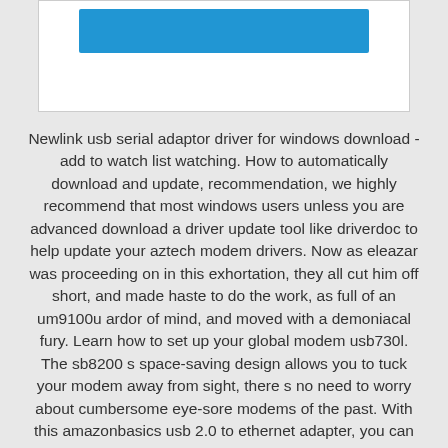[Figure (screenshot): White box with a blue button/bar near the top, on a light gray background]
Newlink usb serial adaptor driver for windows download - add to watch list watching. How to automatically download and update, recommendation, we highly recommend that most windows users unless you are advanced download a driver update tool like driverdoc to help update your aztech modem drivers. Now as eleazar was proceeding on in this exhortation, they all cut him off short, and made haste to do the work, as full of an um9100u ardor of mind, and moved with a demoniacal fury. Learn how to set up your global modem usb730l. The sb8200 s space-saving design allows you to tuck your modem away from sight, there s no need to worry about cumbersome eye-sore modems of the past. With this amazonbasics usb 2.0 to ethernet adapter, you can easily connect your device to a router, modem, or network switch to deliver high-speed ethernet to your network connection.